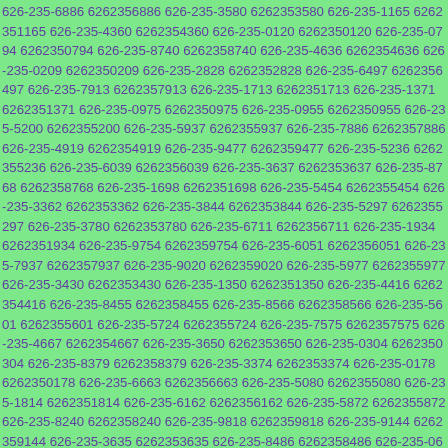626-235-6886 6262356886 626-235-3580 6262353580 626-235-1165 6262351165 626-235-4360 6262354360 626-235-0120 6262350120 626-235-0794 6262350794 626-235-8740 6262358740 626-235-4636 6262354636 626-235-0209 6262350209 626-235-2828 6262352828 626-235-6497 6262356497 626-235-7913 6262357913 626-235-1713 6262351713 626-235-1371 6262351371 626-235-0975 6262350975 626-235-0955 6262350955 626-235-5200 6262355200 626-235-5937 6262355937 626-235-7886 6262357886 626-235-4919 6262354919 626-235-9477 6262359477 626-235-5236 6262355236 626-235-6039 6262356039 626-235-3637 6262353637 626-235-8768 6262358768 626-235-1698 6262351698 626-235-5454 6262355454 626-235-3362 6262353362 626-235-3844 6262353844 626-235-5297 6262355297 626-235-3780 6262353780 626-235-6711 6262356711 626-235-1934 6262351934 626-235-9754 6262359754 626-235-6051 6262356051 626-235-7937 6262357937 626-235-9020 6262359020 626-235-5977 6262355977 626-235-3430 6262353430 626-235-1350 6262351350 626-235-4416 6262354416 626-235-8455 6262358455 626-235-8566 6262358566 626-235-5601 6262355601 626-235-5724 6262355724 626-235-7575 6262357575 626-235-4667 6262354667 626-235-3650 6262353650 626-235-0304 6262350304 626-235-8379 6262358379 626-235-3374 6262353374 626-235-0178 6262350178 626-235-6663 6262356663 626-235-5080 6262355080 626-235-1814 6262351814 626-235-6162 6262356162 626-235-5872 6262355872 626-235-8240 6262358240 626-235-9818 6262359818 626-235-9144 6262359144 626-235-3635 6262353635 626-235-8486 6262358486 626-235-0640